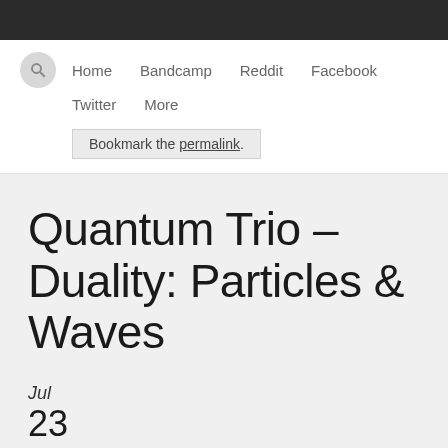Home  Bandcamp  Reddit  Facebook  Twitter  More
Bookmark the permalink.
Quantum Trio – Duality: Particles & Waves
Jul 23
2017 by Dæv Tremblay